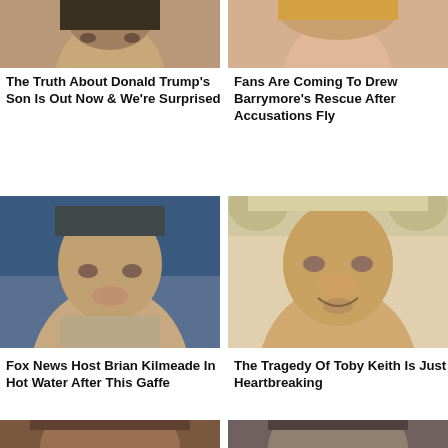[Figure (photo): Cropped close-up photo of Donald Trump's son, top portion of face visible]
[Figure (photo): Cropped close-up photo of Drew Barrymore, top portion of face visible]
The Truth About Donald Trump's Son Is Out Now & We're Surprised
Fans Are Coming To Drew Barrymore's Rescue After Accusations Fly
[Figure (photo): Close-up photo of Fox News host Brian Kilmeade against a blue background]
[Figure (photo): Close-up photo of Toby Keith smiling, wearing a cowboy hat]
Fox News Host Brian Kilmeade In Hot Water After This Gaffe
The Tragedy Of Toby Keith Is Just Heartbreaking
[Figure (photo): Partially visible photo of a person, bottom row left]
[Figure (photo): Partially visible photo of a person, bottom row right]